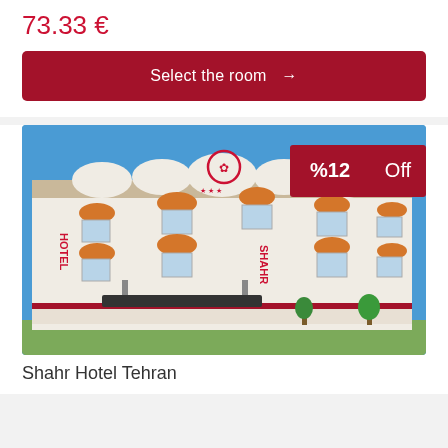73.33 €
Select the room →
[Figure (photo): Exterior photo of Hotel Shahr Tehran, a white multi-story building with orange dome-style awnings, red lettering spelling HOTEL SHAHR on the facade, and a red discount badge showing %12 Off in the top-right corner.]
Shahr Hotel Tehran